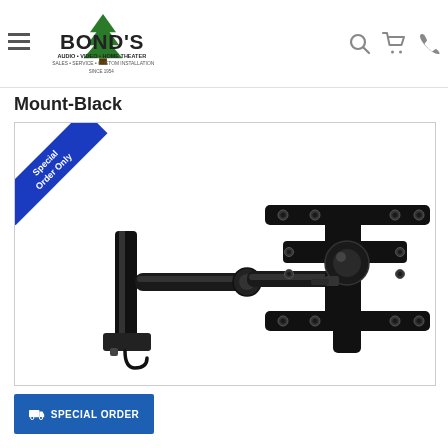Bond's Audio Video Home Theater — Navigation header with logo, search, cart, and phone icons
Mount-Black
[Figure (photo): Black articulating wall mount TV bracket with extendable arm, shown extended. Features VESA mounting plate on right side and vertical wall attachment bracket on left. Blue 'Special Order Only' diagonal ribbon banner in top-left corner.]
SPECIAL ORDER